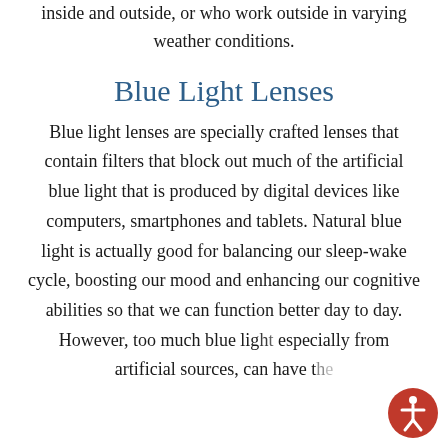inside and outside, or who work outside in varying weather conditions.
Blue Light Lenses
Blue light lenses are specially crafted lenses that contain filters that block out much of the artificial blue light that is produced by digital devices like computers, smartphones and tablets. Natural blue light is actually good for balancing our sleep-wake cycle, boosting our mood and enhancing our cognitive abilities so that we can function better day to day. However, too much blue light especially from artificial sources, can have the